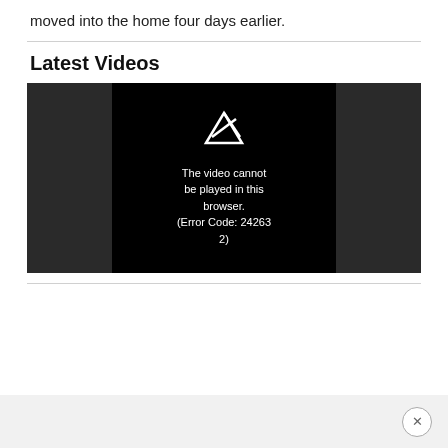moved into the home four days earlier.
Latest Videos
[Figure (screenshot): Video player showing error message: 'The video cannot be played in this browser. (Error Code: 242632)']